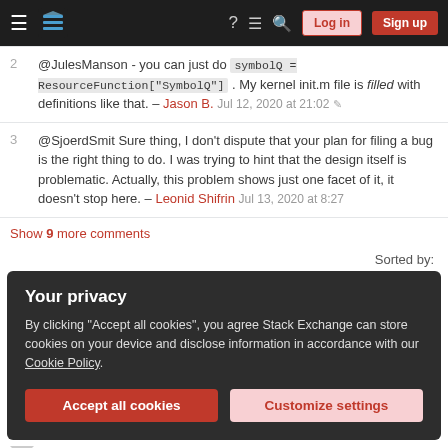Navigation bar with Stack Exchange logo, Log in and Sign up buttons
2 @JulesManson - you can just do symbolQ = ResourceFunction["SymbolQ"] . My kernel init.m file is filled with definitions like that. – Jason B. Jul 12, 2020 at 21:02
3 @SjoerdSmit Sure thing, I don't dispute that your plan for filing a bug is the right thing to do. I was trying to hint that the design itself is problematic. Actually, this problem shows just one facet of it, it doesn't stop here. – Leonid Shifrin Jul 13, 2020 at 8:27
Show 9 more comments
Sorted by:
Your privacy
By clicking "Accept all cookies", you agree Stack Exchange can store cookies on your device and disclose information in accordance with our Cookie Policy.
Accept all cookies  Customize settings
oversight).